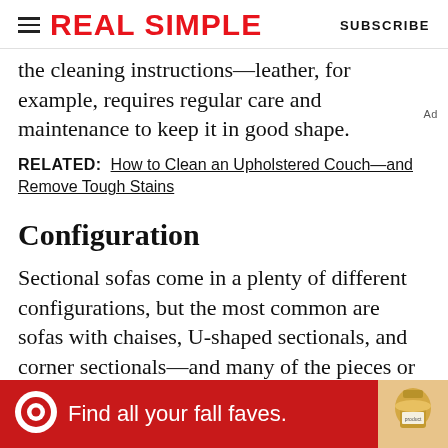REAL SIMPLE | SUBSCRIBE
the cleaning instructions—leather, for example, requires regular care and maintenance to keep it in good shape.
RELATED:  How to Clean an Upholstered Couch—and Remove Tough Stains
Configuration
Sectional sofas come in a plenty of different configurations, but the most common are sofas with chaises, U-shaped sectionals, and corner sectionals—and many of the pieces or
[Figure (infographic): Target advertisement banner: red background with Target bullseye logo, text 'Find all your fall faves.' and product image on right side]